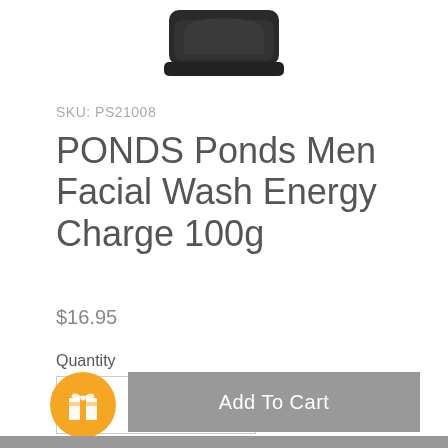[Figure (photo): Partial view of a dark-colored cylindrical product jar (PONDS Men Facial Wash Energy Charge) shown from above, cropped at the top of the page]
SKU: PS21008
PONDS Ponds Men Facial Wash Energy Charge 100g
$16.95
Quantity
1
Add To Cart